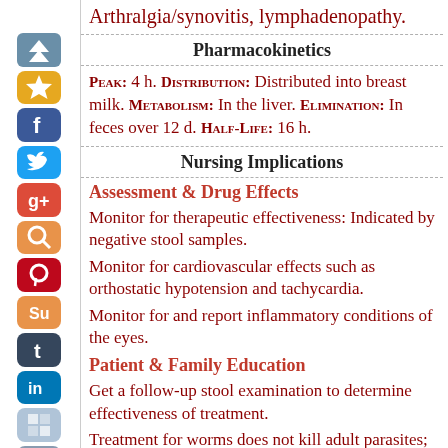Arthralgia/synovitis, lymphadenopathy.
Pharmacokinetics
Peak: 4 h. Distribution: Distributed into breast milk. Metabolism: In the liver. Elimination: In feces over 12 d. Half-Life: 16 h.
Nursing Implications
Assessment & Drug Effects
Monitor for therapeutic effectiveness: Indicated by negative stool samples.
Monitor for cardiovascular effects such as orthostatic hypotension and tachycardia.
Monitor for and report inflammatory conditions of the eyes.
Patient & Family Education
Get a follow-up stool examination to determine effectiveness of treatment.
Treatment for worms does not kill adult parasites; repeated follow-up and retreatment are usually needed.
Notify physician if eye discomfort develops.